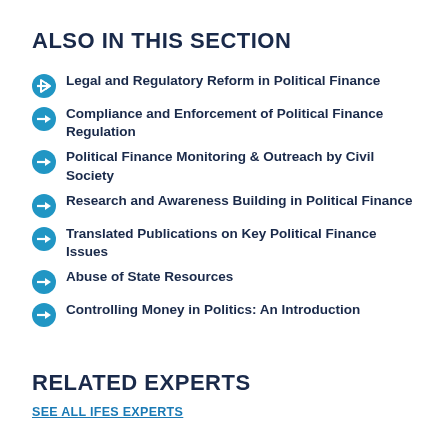ALSO IN THIS SECTION
Legal and Regulatory Reform in Political Finance
Compliance and Enforcement of Political Finance Regulation
Political Finance Monitoring & Outreach by Civil Society
Research and Awareness Building in Political Finance
Translated Publications on Key Political Finance Issues
Abuse of State Resources
Controlling Money in Politics: An Introduction
RELATED EXPERTS
SEE ALL IFES EXPERTS